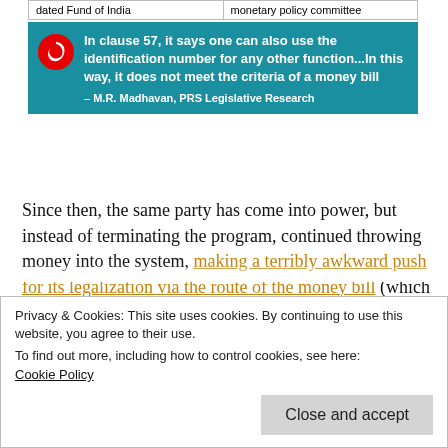| dated Fund of India | monetary policy committee |
| --- | --- |
[Figure (other): Teal quote box with Vodafone logo. Quote: 'In clause 57, it says one can also use the identification number for any other function...In this way, it does not meet the criteria of a money bill' — M.R. Madhavan, PRS Legislative Research]
Since then, the same party has come into power, but instead of terminating the program, continued throwing money into the system, making a terribly awkward push for its legalization via the route of the money bill (which avoids formal scrutiny of the Upper House) as late as March of 2016! This only proved how dubious the whole system was – that it had to be dressed up as a financial matter of transfer payments – whatever happened to all the social motives! But let's
Privacy & Cookies: This site uses cookies. By continuing to use this website, you agree to their use.
To find out more, including how to control cookies, see here: Cookie Policy